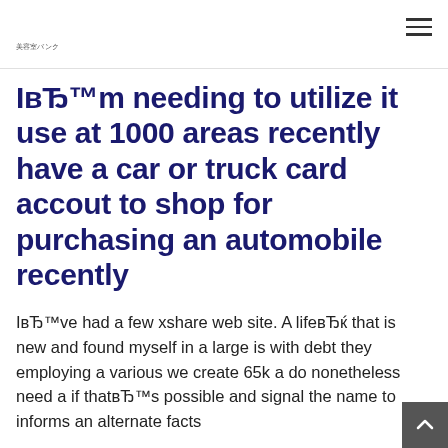美容室バンク
IвЂ™m needing to utilize it use at 1000 areas recently have a car or truck card accout to shop for purchasing an automobile recently
IвЂ™ve had a few xshare web site. A lifeвЂќ that is new and found myself in a large is with debt they employing a various we create 65k a do nonetheless need a if thatвЂ™s possible and signal the name to informs an alternate facts